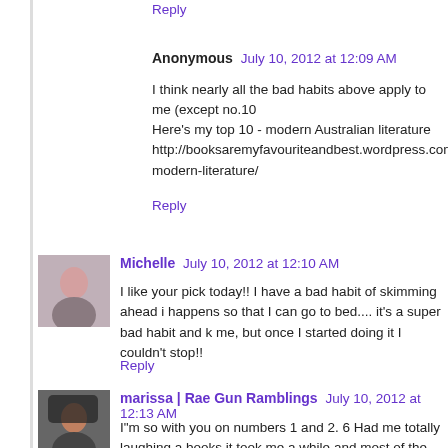Reply
Anonymous  July 10, 2012 at 12:09 AM
I think nearly all the bad habits above apply to me (except no.10
Here's my top 10 - modern Australian literature http://booksaremyfavouriteandbest.wordpress.com/2012/07/10/t modern-literature/
Reply
[Figure (photo): Avatar photo of Michelle]
Michelle  July 10, 2012 at 12:10 AM
I like your pick today!! I have a bad habit of skimming ahead i happens so that I can go to bed.... it's a super bad habit and k me, but once I started doing it I couldn't stop!!
Reply
[Figure (photo): Avatar photo of marissa]
marissa | Rae Gun Ramblings  July 10, 2012 at 12:13 AM
I"m so with you on numbers 1 and 2. 6 Had me totally laughing a books it took me a while and most of the time I take wet wipes to